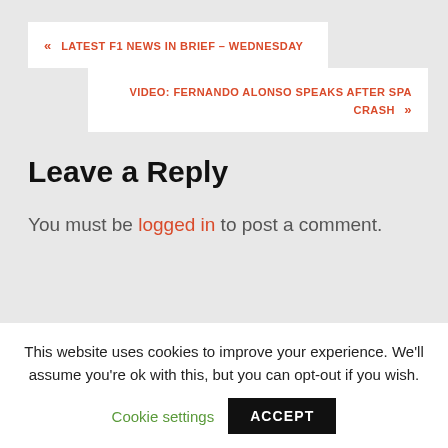« LATEST F1 NEWS IN BRIEF – WEDNESDAY
VIDEO: FERNANDO ALONSO SPEAKS AFTER SPA CRASH »
Leave a Reply
You must be logged in to post a comment.
Categories
This website uses cookies to improve your experience. We'll assume you're ok with this, but you can opt-out if you wish.
Cookie settings   ACCEPT